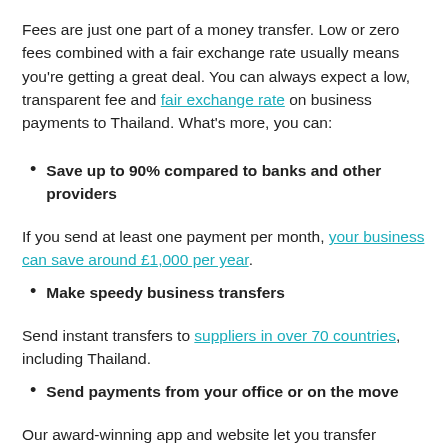Fees are just one part of a money transfer. Low or zero fees combined with a fair exchange rate usually means you're getting a great deal. You can always expect a low, transparent fee and fair exchange rate on business payments to Thailand. What's more, you can:
Save up to 90% compared to banks and other providers
If you send at least one payment per month, your business can save around £1,000 per year.
Make speedy business transfers
Send instant transfers to suppliers in over 70 countries, including Thailand.
Send payments from your office or on the move
Our award-winning app and website let you transfer money on